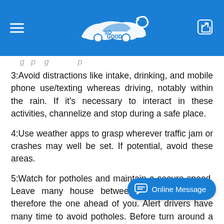So Good - Logo, Menu, Share
[partial line cut off at top]
3:Avoid distractions like intake, drinking, and mobile phone use/texting whereas driving, notably within the rain. If it's necessary to interact in these activities, channelize and stop during a safe place.
4:Use weather apps to grasp wherever traffic jam or crashes may well be set. If potential, avoid these areas.
5:Watch for potholes and maintain a secure speed. Leave many house between your vehicle and therefore the one ahead of you. Alert drivers have many time to avoid potholes. Before turn around a hole, make certain to envision encompassing traffic to see if it's safe to alter lanes
6:Check tires. confirm tires square measure in fitness and square